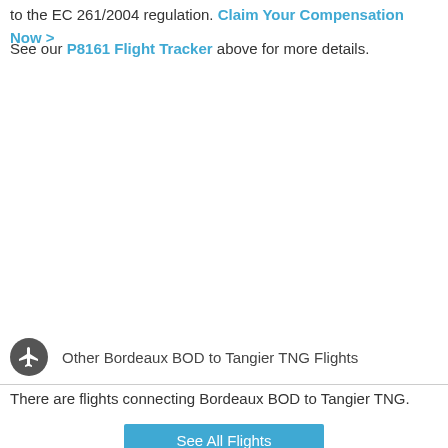to the EC 261/2004 regulation. Claim Your Compensation Now >
See our P8161 Flight Tracker above for more details.
Other Bordeaux BOD to Tangier TNG Flights
There are flights connecting Bordeaux BOD to Tangier TNG.
See All Flights